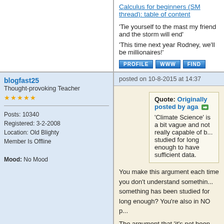Calculus for beginners (SM thread): table of content
'Tie yourself to the mast my friend and the storm will end'
'This time next year Rodney, we'll be millionaires!'
PROFILE   WWW   FIND
blogfast25
Thought-provoking Teacher
★★★★★
Posts: 10340
Registered: 3-2-2008
Location: Old Blighty
Member Is Offline
Mood: No Mood
posted on 10-8-2015 at 14:37
Quote: Originally posted by aga
'Climate Science' is a bit vague and not really capable of b... studied for long enough to have sufficient data.
You make this argument each time you don't understand something... something has been studied for long enough? You're also in NO p...
The argument that 'it's not been researched enough' has been used...
You're entitled to your opinion but if I have to choose between you... easy to make. 😁